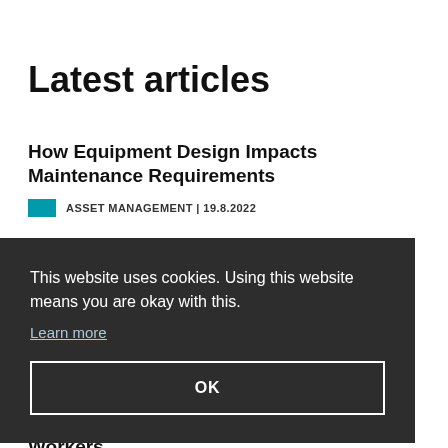Latest articles
How Equipment Design Impacts Maintenance Requirements
ASSET MANAGEMENT | 19.8.2022
This website uses cookies. Using this website means you are okay with this.
Learn more
OK
When Should You Send Maintenance Workers